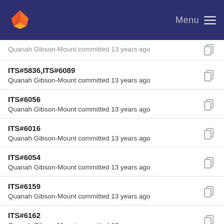Menu
ITS#5836,ITS#6089
Quanah Gibson-Mount committed 13 years ago
ITS#6056
Quanah Gibson-Mount committed 13 years ago
ITS#6016
Quanah Gibson-Mount committed 13 years ago
ITS#6054
Quanah Gibson-Mount committed 13 years ago
ITS#6159
Quanah Gibson-Mount committed 13 years ago
ITS#6162
Quanah Gibson-Mount committed 13 years ago
ITS#6056
Quanah Gibson-Mount committed 13 years ago
ITS#6139